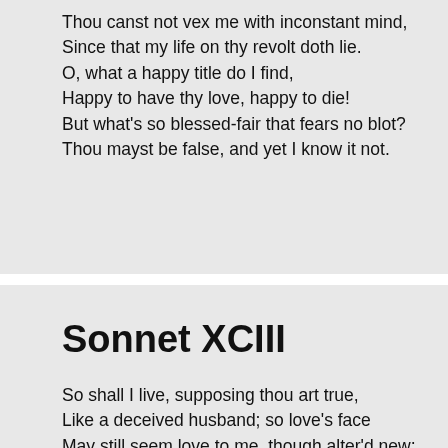Thou canst not vex me with inconstant mind,
Since that my life on thy revolt doth lie.
O, what a happy title do I find,
Happy to have thy love, happy to die!
But what's so blessed-fair that fears no blot?
Thou mayst be false, and yet I know it not.
Sonnet XCIII
So shall I live, supposing thou art true,
Like a deceived husband; so love's face
May still seem love to me, though alter'd new;